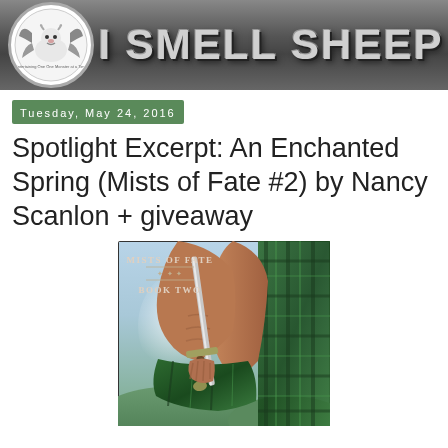[Figure (logo): I Smell Sheep blog header banner with logo of a cartoon sheep with bat wings on the left and large metallic text 'I SMELL SHEEP' on a dark gray background]
Tuesday, May 24, 2016
Spotlight Excerpt: An Enchanted Spring (Mists of Fate #2) by Nancy Scanlon + giveaway
[Figure (photo): Book cover for 'An Enchanted Spring' - Mists of Fate Book Two, showing a shirtless muscular man in a green tartan/plaid kilt holding a sword, with a misty green landscape background]